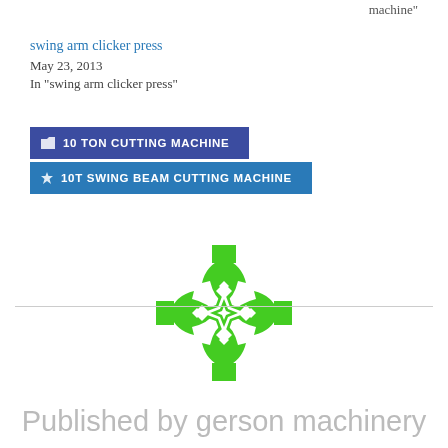machine"
swing arm clicker press
May 23, 2013
In "swing arm clicker press"
10 TON CUTTING MACHINE
10T SWING BEAM CUTTING MACHINE
[Figure (logo): Green decorative circular logo with star/snowflake pattern in the center and leaf/arrow shapes around it]
Published by gerson machinery